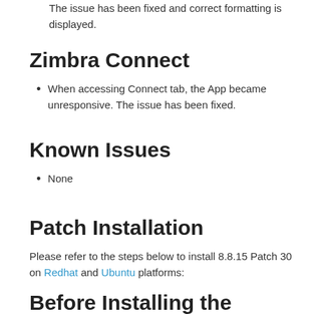The issue has been fixed and correct formatting is displayed.
Zimbra Connect
When accessing Connect tab, the App became unresponsive. The issue has been fixed.
Known Issues
None
Patch Installation
Please refer to the steps below to install 8.8.15 Patch 30 on Redhat and Ubuntu platforms:
Before Installing the Patch